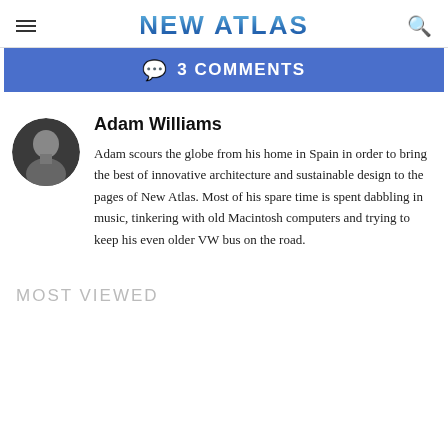NEW ATLAS
3 COMMENTS
Adam Williams
Adam scours the globe from his home in Spain in order to bring the best of innovative architecture and sustainable design to the pages of New Atlas. Most of his spare time is spent dabbling in music, tinkering with old Macintosh computers and trying to keep his even older VW bus on the road.
MOST VIEWED